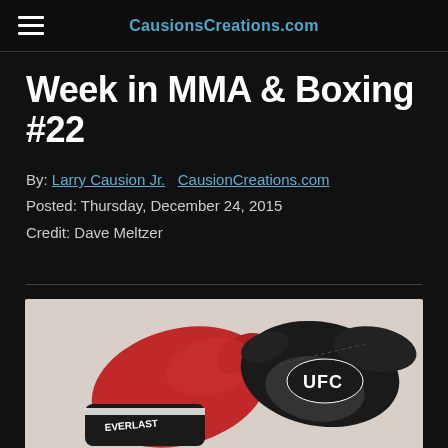CausionsCreations.com
Week in MMA & Boxing #22
By: Larry Causion Jr.   CausionCreations.com
Posted: Thursday, December 24, 2015
Credit: Dave Meltzer
[Figure (photo): Boxing glove (red Everlast) and MMA glove (black UFC) side by side on white background]